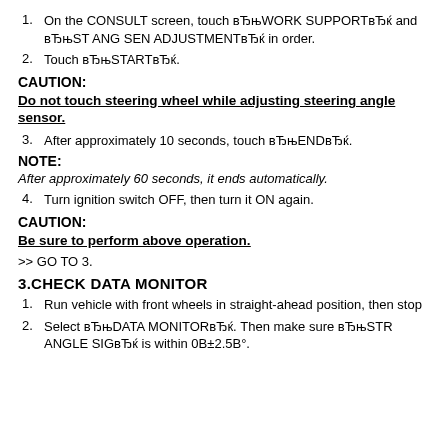1. On the CONSULT screen, touch "WORK SUPPORT" and "ST ANG SEN ADJUSTMENT" in order.
2. Touch "START".
CAUTION:
Do not touch steering wheel while adjusting steering angle sensor.
3. After approximately 10 seconds, touch "END".
NOTE:
After approximately 60 seconds, it ends automatically.
4. Turn ignition switch OFF, then turn it ON again.
CAUTION:
Be sure to perform above operation.
>> GO TO 3.
3.CHECK DATA MONITOR
1. Run vehicle with front wheels in straight-ahead position, then stop
2. Select "DATA MONITOR". Then make sure "STR ANGLE SIG" is within 0В±2.5В°.